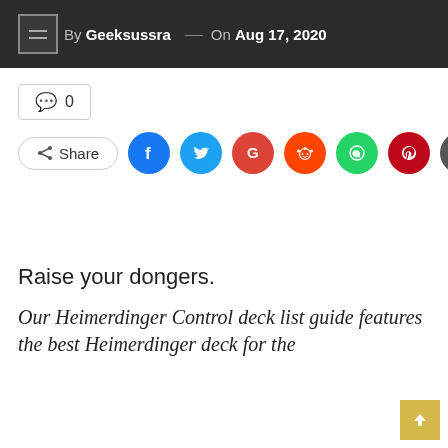By Geeksussra — On Aug 17, 2020
0
[Figure (infographic): Social share row with Share button and social media icons: Facebook, Twitter, Google, Reddit, WhatsApp, Pinterest, Email]
Raise your dongers.
Our Heimerdinger Control deck list guide features the best Heimerdinger deck for the